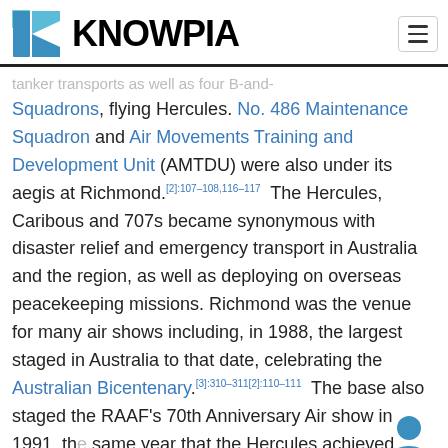KNOWPIA
Squadrons, flying Hercules. No. 486 Maintenance Squadron and Air Movements Training and Development Unit (AMTDU) were also under its aegis at Richmond.[2]:107–108,116–117 The Hercules, Caribous and 707s became synonymous with disaster relief and emergency transport in Australia and the region, as well as deploying on overseas peacekeeping missions. Richmond was the venue for many air shows including, in 1988, the largest staged in Australia to that date, celebrating the Australian Bicentenary.[3]:310–311[2]:110–111 The base also staged the RAAF's 70th Anniversary Air show in 1991, the same year that the Hercules achieved 500,000 accident-free hours of operation.[4]